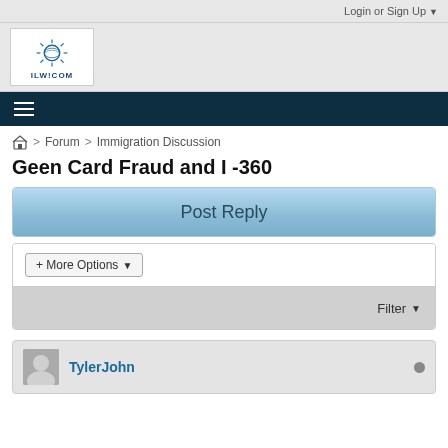Login or Sign Up
[Figure (logo): ILW.COM logo with sun/globe icon]
Geen Card Fraud and I -360
Post Reply
+ More Options
Filter
TylerJohn